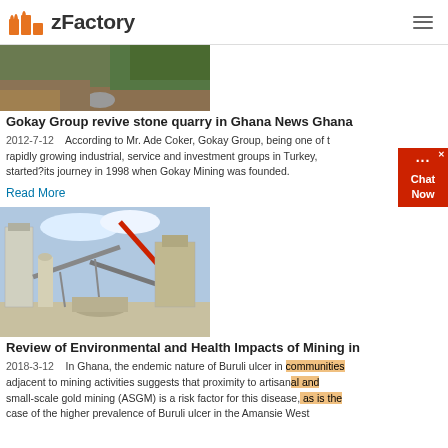zFactory
[Figure (photo): Quarry site with rocks and vegetation in Ghana]
Gokay Group revive stone quarry in Ghana News Ghana
2012-7-12    According to Mr. Ade Coker, Gokay Group, being one of the rapidly growing industrial, service and investment groups in Turkey, started?its journey in 1998 when Gokay Mining was founded.
Read More
[Figure (photo): Industrial mining plant with conveyor belts and silos]
Review of Environmental and Health Impacts of Mining in
2018-3-12    In Ghana, the endemic nature of Buruli ulcer in communities adjacent to mining activities suggests that proximity to artisanal and small-scale gold mining (ASGM) is a risk factor for this disease, as is the case of the higher prevalence of Buruli ulcer in the Amansie West